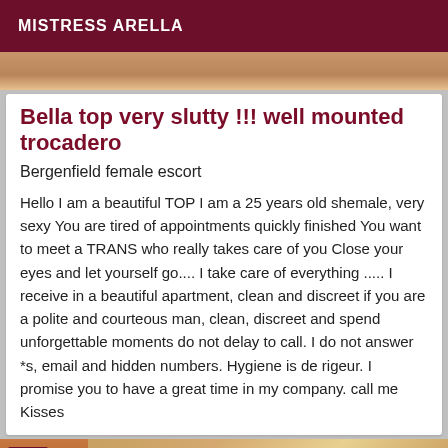MISTRESS ARELLA
[Figure (photo): Partial photo cropped at top, skin tones visible]
Bella top very slutty !!! well mounted trocadero
Bergenfield female escort
Hello I am a beautiful TOP I am a 25 years old shemale, very sexy You are tired of appointments quickly finished You want to meet a TRANS who really takes care of you Close your eyes and let yourself go.... I take care of everything ..... I receive in a beautiful apartment, clean and discreet if you are a polite and courteous man, clean, discreet and spend unforgettable moments do not delay to call. I do not answer *s, email and hidden numbers. Hygiene is de rigeur. I promise you to have a great time in my company. call me Kisses
[Figure (photo): Bottom photo with VIP badge, warm brown/orange tones, partial figure visible]